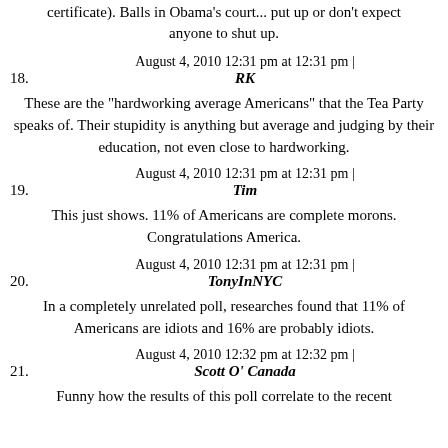certificate). Balls in Obama's court... put up or don't expect anyone to shut up.
18. August 4, 2010 12:31 pm at 12:31 pm | RK
These are the "hardworking average Americans" that the Tea Party speaks of. Their stupidity is anything but average and judging by their education, not even close to hardworking.
19. August 4, 2010 12:31 pm at 12:31 pm | Tim
This just shows. 11% of Americans are complete morons. Congratulations America.
20. August 4, 2010 12:31 pm at 12:31 pm | TonyInNYC
In a completely unrelated poll, researches found that 11% of Americans are idiots and 16% are probably idiots.
21. August 4, 2010 12:32 pm at 12:32 pm | Scott O' Canada
Funny how the results of this poll correlate to the recent